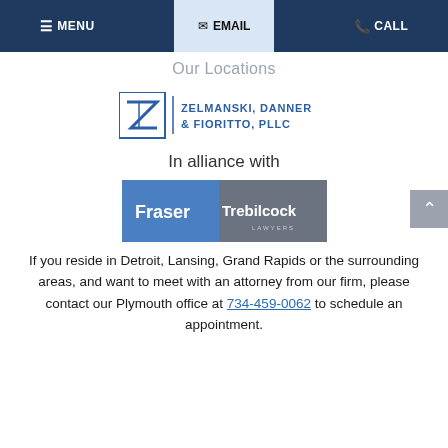MENU  EMAIL  CALL
Our Locations
[Figure (logo): Zelmanski, Danner & Fioritto, PLLC logo with stylized Z/F icon in blue and company name]
In alliance with
[Figure (logo): Fraser Trebilcock Lawyers logo with blue and grey background]
If you reside in Detroit, Lansing, Grand Rapids or the surrounding areas, and want to meet with an attorney from our firm, please contact our Plymouth office at 734-459-0062 to schedule an appointment.